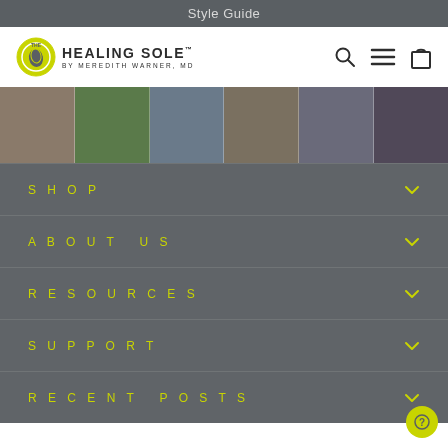Style Guide
[Figure (screenshot): The Healing Sole logo with circle icon and text 'HEALING SOLE BY MEREDITH WARNER, MD', with search, menu, and shopping bag icons on the right]
[Figure (photo): A horizontal strip of 6 lifestyle photos showing people wearing shoes in various settings]
SHOP
ABOUT US
RESOURCES
SUPPORT
RECENT POSTS